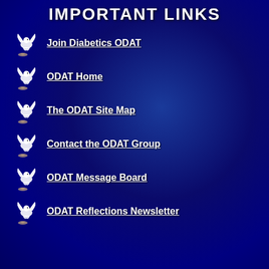IMPORTANT LINKS
Join Diabetics ODAT
ODAT Home
The ODAT Site Map
Contact the ODAT Group
ODAT Message Board
ODAT Reflections Newsletter